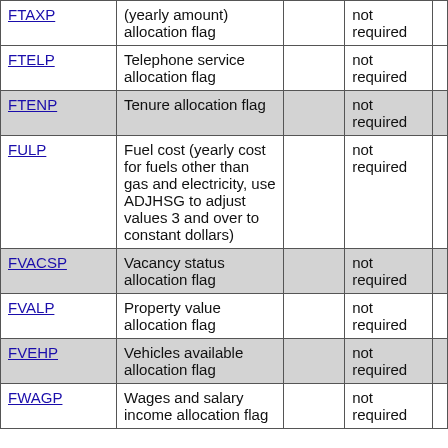| Variable | Description |  | Note |  |
| --- | --- | --- | --- | --- |
| FTAXP | (yearly amount) allocation flag |  | not required |  |
| FTELP | Telephone service allocation flag |  | not required |  |
| FTENP | Tenure allocation flag |  | not required |  |
| FULP | Fuel cost (yearly cost for fuels other than gas and electricity, use ADJHSG to adjust values 3 and over to constant dollars) |  | not required |  |
| FVACSP | Vacancy status allocation flag |  | not required |  |
| FVALP | Property value allocation flag |  | not required |  |
| FVEHP | Vehicles available allocation flag |  | not required |  |
| FWAGP | Wages and salary income allocation flag |  | not required |  |